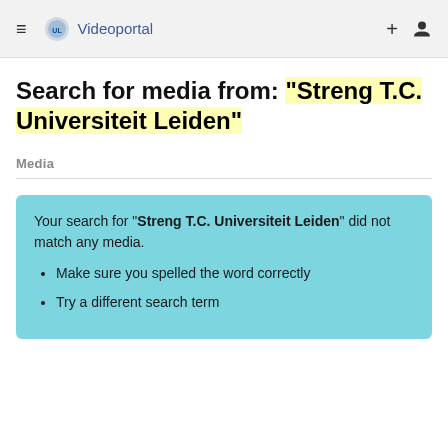≡ Universiteit Leiden Videoportal
Search for media from: "Streng T.C. Universiteit Leiden"
Media
Your search for "Streng T.C. Universiteit Leiden" did not match any media.
Make sure you spelled the word correctly
Try a different search term